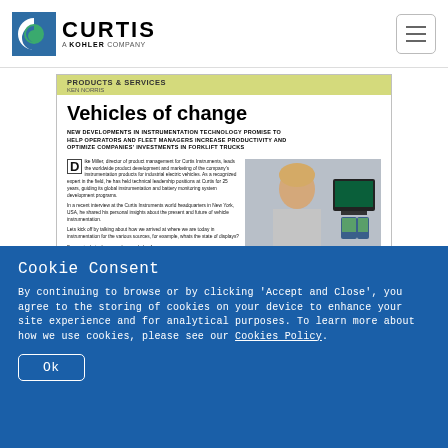[Figure (logo): Curtis - A Kohler Company logo with blue/green C icon]
[Figure (screenshot): Article preview: 'Vehicles of change' article about instrumentation technology for forklift trucks, showing a person and Curtis display devices]
Cookie Consent
By continuing to browse or by clicking 'Accept and Close', you agree to the storing of cookies on your device to enhance your site experience and for analytical purposes. To learn more about how we use cookies, please see our Cookies Policy.